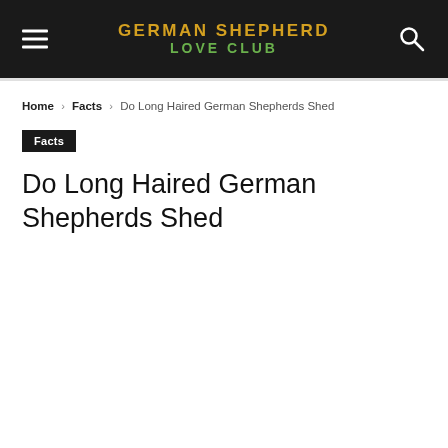GERMAN SHEPHERD LOVE CLUB
Home › Facts › Do Long Haired German Shepherds Shed
Facts
Do Long Haired German Shepherds Shed